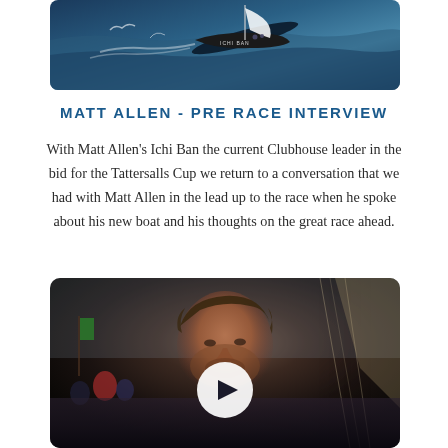[Figure (photo): Aerial or elevated view of a sailing yacht named Ichi Ban racing through ocean waves]
MATT ALLEN - PRE RACE INTERVIEW
With Matt Allen's Ichi Ban the current Clubhouse leader in the bid for the Tattersalls Cup we return to a conversation that we had with Matt Allen in the lead up to the race when he spoke about his new boat and his thoughts on the great race ahead.
[Figure (photo): Close-up photo of Matt Allen (a man with tousled hair) at a sailing event with crowds and flags in the background, overlaid with a white circular play button indicating a video]